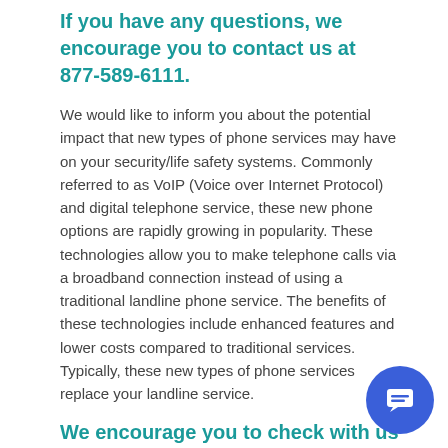If you have any questions, we encourage you to contact us at 877-589-6111.
We would like to inform you about the potential impact that new types of phone services may have on your security/life safety systems. Commonly referred to as VoIP (Voice over Internet Protocol) and digital telephone service, these new phone options are rapidly growing in popularity. These technologies allow you to make telephone calls via a broadband connection instead of using a traditional landline phone service. The benefits of these technologies include enhanced features and lower costs compared to traditional services. Typically, these new types of phone services replace your landline service.
We encourage you to check with us before making any changes to your existing telephone service. If